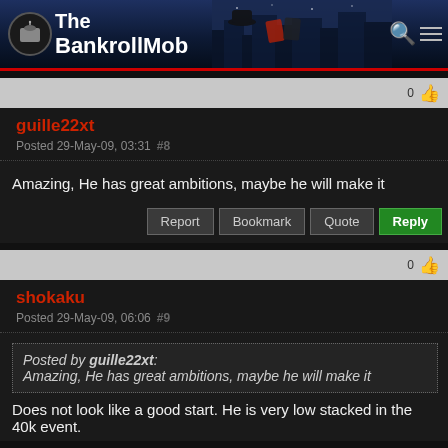The BankrollMob
guille22xt
Posted 29-May-09, 03:31 #8
Amazing, He has great ambitions, maybe he will make it
shokaku
Posted 29-May-09, 06:06 #9
Posted by guille22xt:
Amazing, He has great ambitions, maybe he will make it
Does not look like a good start. He is very low stacked in the 40k event.